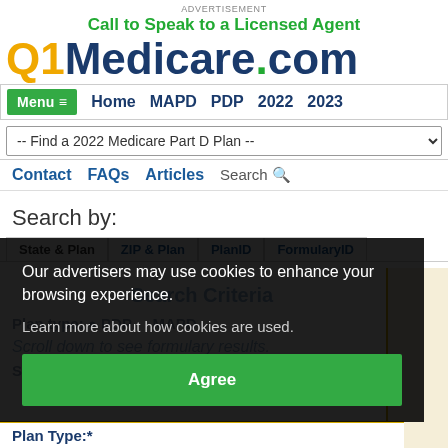Advertisement
Call to Speak to a Licensed Agent
[Figure (logo): Q1Medicare.com logo with Q1 in orange, Medicare in dark blue, .com in green/dark blue]
Menu | Home | MAPD | PDP | 2022 | 2023
-- Find a 2022 Medicare Part D Plan --
Contact  FAQs  Articles  Search
Search by:
State & Plan  ZIP & Plan  PlanID  FormularyID
Search Criteria
Plan type: PDP  MAPD
Scroll down to see formulary results.
Our advertisers may use cookies to enhance your browsing experience.
Learn more about how cookies are used.
Agree
State:*  Florida
Plan Type:*  Formulary Single Plan...